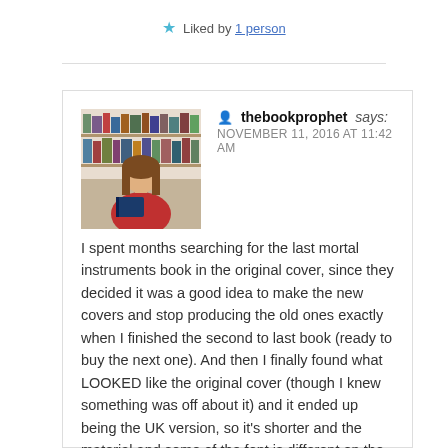★ Liked by 1 person
thebookprophet says:
NOVEMBER 11, 2016 AT 11:42 AM
I spent months searching for the last mortal instruments book in the original cover, since they decided it was a good idea to make the new covers and stop producing the old ones exactly when I finished the second to last book (ready to buy the next one). And then I finally found what LOOKED like the original cover (though I knew something was off about it) and it ended up being the UK version, so it's shorter and the material and some of the font is different on the front and spine. I've been having this same problem with the Percy Jackson series *sigh*